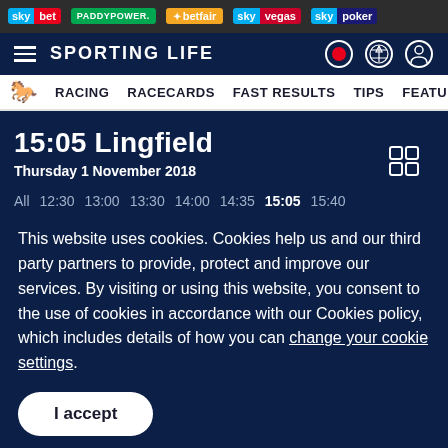sky bet | PADDYPOWER. | betfair | sky vegas | sky poker
SPORTING LIFE
RACING   RACECARDS   FAST RESULTS   TIPS   FEATURES
15:05 Lingfield
Thursday 1 November 2018
All  12:30  13:00  13:30  14:00  14:35  15:05  15:40
This website uses cookies. Cookies help us and our third party partners to provide, protect and improve our services. By visiting or using this website, you consent to the use of cookies in accordance with our Cookies policy, which includes details of how you can change your cookie settings.